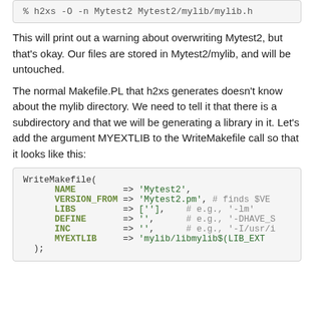% h2xs -O -n Mytest2 Mytest2/mylib/mylib.h
This will print out a warning about overwriting Mytest2, but that's okay. Our files are stored in Mytest2/mylib, and will be untouched.
The normal Makefile.PL that h2xs generates doesn't know about the mylib directory. We need to tell it that there is a subdirectory and that we will be generating a library in it. Let's add the argument MYEXTLIB to the WriteMakefile call so that it looks like this:
WriteMakefile(
    NAME         => 'Mytest2',
    VERSION_FROM => 'Mytest2.pm', # finds $VE
    LIBS         => [''],    # e.g., '-lm'
    DEFINE       => '',      # e.g., '-DHAVE_S
    INC          => '',      # e.g., '-I/usr/i
    MYEXTLIB     => 'mylib/libmylib$(LIB_EXT
);